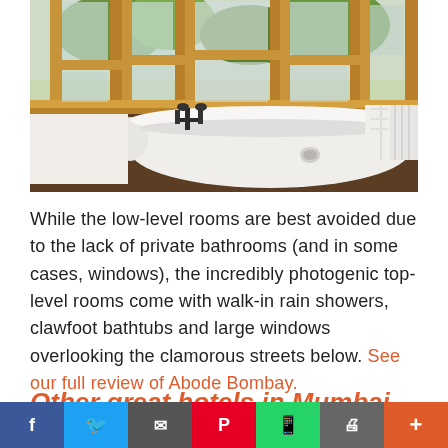[Figure (photo): Bathroom with a white clawfoot bathtub, black vintage faucet, wooden windowsills, and large windows with a view of green trees and street outside]
While the low-level rooms are best avoided due to the lack of private bathrooms (and in some cases, windows), the incredibly photogenic top-level rooms come with walk-in rain showers, clawfoot bathtubs and large windows overlooking the clamorous streets below. See our full review of Abode Bombay.
Other great hotels in Mumbai